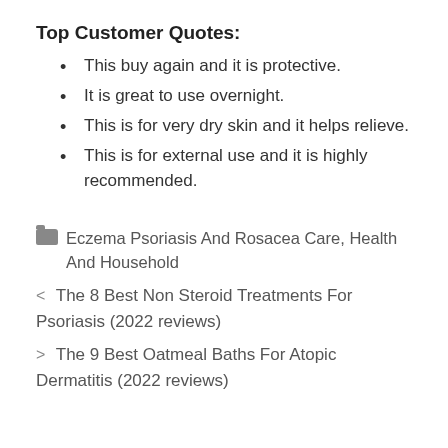Top Customer Quotes:
This buy again and it is protective.
It is great to use overnight.
This is for very dry skin and it helps relieve.
This is for external use and it is highly recommended.
Eczema Psoriasis And Rosacea Care, Health And Household
< The 8 Best Non Steroid Treatments For Psoriasis (2022 reviews)
> The 9 Best Oatmeal Baths For Atopic Dermatitis (2022 reviews)